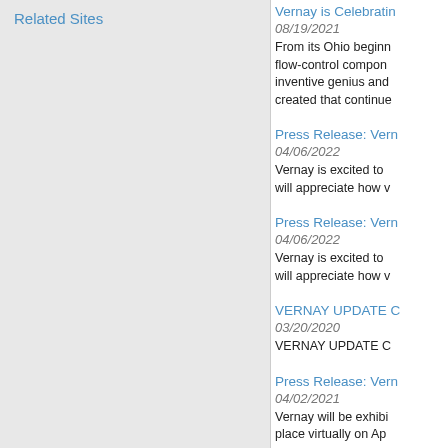Related Sites
Vernay is Celebratin
08/19/2021
From its Ohio beginn flow-control compon inventive genius and created that continue
Press Release: Vern
04/06/2022
Vernay is excited to will appreciate how v
Press Release: Vern
04/06/2022
Vernay is excited to will appreciate how v
VERNAY UPDATE C
03/20/2020
VERNAY UPDATE C
Press Release: Vern
04/02/2021
Vernay will be exhibi place virtually on Ap